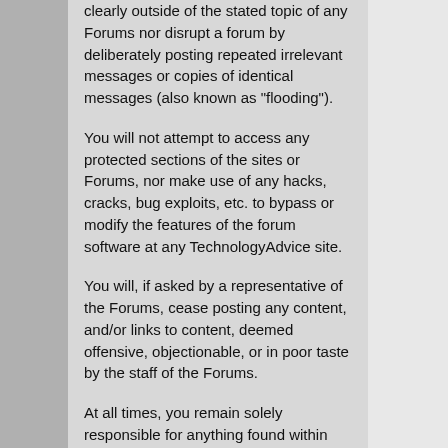clearly outside of the stated topic of any Forums nor disrupt a forum by deliberately posting repeated irrelevant messages or copies of identical messages (also known as "flooding").
You will not attempt to access any protected sections of the sites or Forums, nor make use of any hacks, cracks, bug exploits, etc. to bypass or modify the features of the forum software at any TechnologyAdvice site.
You will, if asked by a representative of the Forums, cease posting any content, and/or links to content, deemed offensive, objectionable, or in poor taste by the staff of the Forums.
At all times, you remain solely responsible for anything found within your posts and agree to indemnify and hold TechnologyAdvice and its subsidiaries, affiliates, officers, agents, co-branders or other partners, and employees, harmless from any